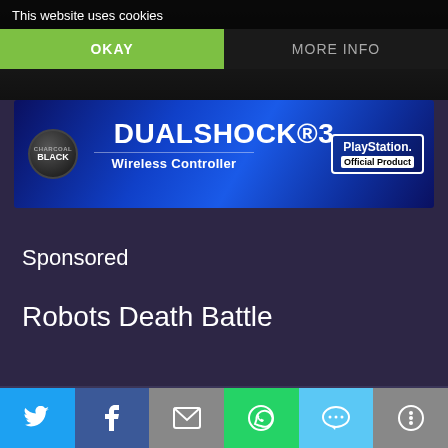This website uses cookies
OKAY
MORE INFO
[Figure (screenshot): Dark background photo at top of page]
[Figure (photo): DUALSHOCK®3 Wireless Controller - PlayStation Official Product advertisement banner. Charcoal Black edition shown on blue gradient background.]
Sponsored
Robots Death Battle
[Figure (infographic): Social share bar with Twitter, Facebook, Email, WhatsApp, SMS, and More icons at bottom of page]